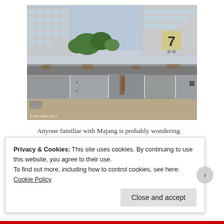[Figure (photo): Row of dilapidated corrugated metal sheds/garages with rusty doors at ground level, with modern high-rise apartment buildings and trees visible in the background. A large number '7' and Chinese characters are visible on the building. Photo credit watermark at bottom left.]
Anyone familiar with Majang is probably wondering by this point When are they gonna get to the meat? Don't worry, we haven't forgotten, for if there is one thing Majang is synonymous with, it's meat.
Privacy & Cookies: This site uses cookies. By continuing to use this website, you agree to their use.
To find out more, including how to control cookies, see here: Cookie Policy
Close and accept